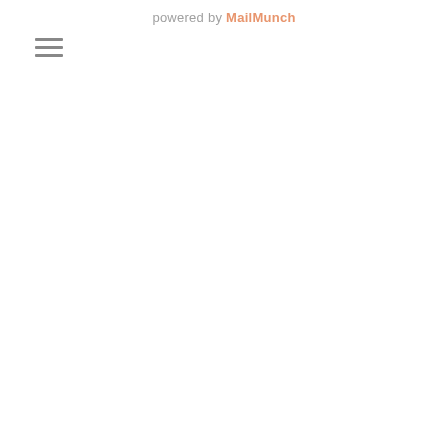powered by MailMunch
[Figure (other): Hamburger menu icon consisting of three horizontal lines stacked vertically]